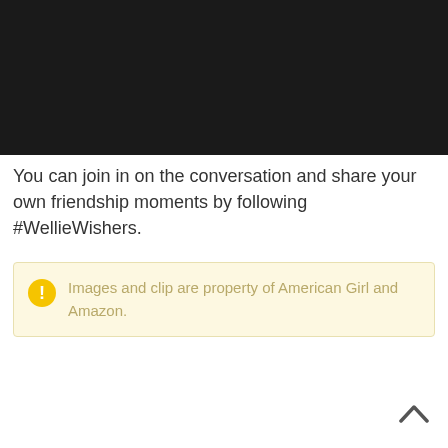[Figure (photo): Dark/black image area at the top of the page, appears to be a video or image placeholder with a very dark background.]
You can join in on the conversation and share your own friendship moments by following #WellieWishers.
Images and clip are property of American Girl and Amazon.